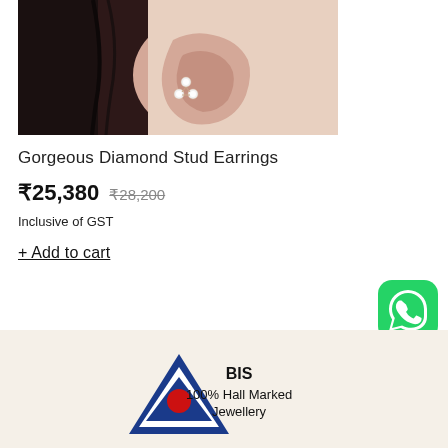[Figure (photo): Close-up photo of a woman's ear wearing a diamond stud earring with a triangular floral design in rose gold setting.]
Gorgeous Diamond Stud Earrings
₹25,380 ₹28,200
Inclusive of GST
+ Add to cart
[Figure (logo): WhatsApp green icon button]
[Figure (logo): BIS hallmark logo — blue triangle with red dot — with text: BIS 100% Hall Marked Jewellery]